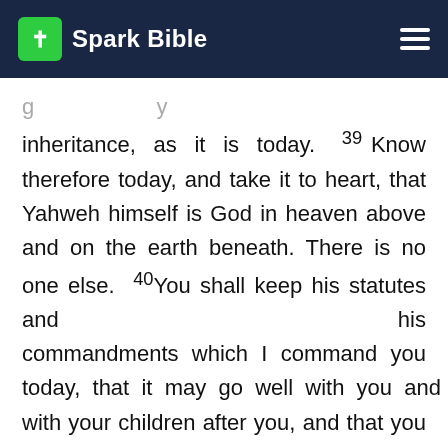Spark Bible
inheritance, as it is today. 39 Know therefore today, and take it to heart, that Yahweh himself is God in heaven above and on the earth beneath. There is no one else. 40 You shall keep his statutes and his commandments which I command you today, that it may go well with you and with your children after you, and that you may prolong your days in the land which Yahweh your God gives you for all time.